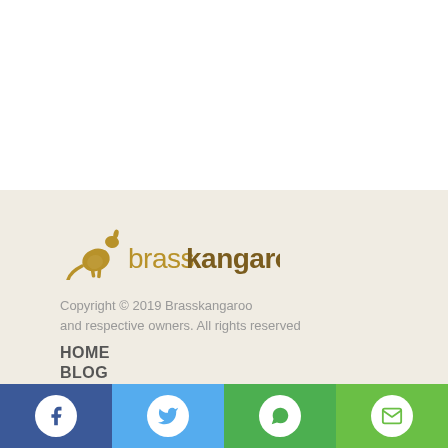[Figure (logo): Brasskangaroo logo with golden kangaroo silhouette and text 'brasskangaroo' in brown/gold]
Copyright © 2019 Brasskangaroo and respective owners. All rights reserved
HOME
BLOG
ABOUT
PARTNER WITH US
PRIVACY POLICY
Social bar: Facebook, Twitter, WhatsApp, Email